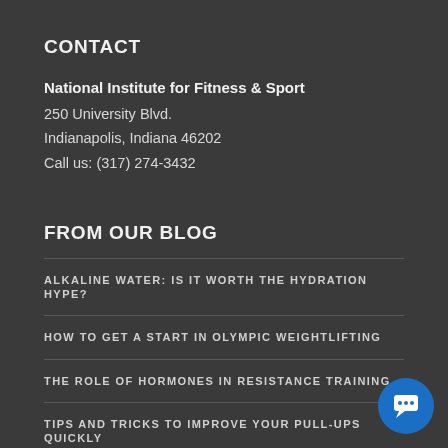CONTACT
National Institute for Fitness & Sport
250 University Blvd.
Indianapolis, Indiana 46202
Call us: (317) 274-3432
FROM OUR BLOG
ALKALINE WATER: IS IT WORTH THE HYDRATION HYPE?
HOW TO GET A START IN OLYMPIC WEIGHTLIFTING
THE ROLE OF HORMONES IN RESISTANCE TRAINING
TIPS AND TRICKS TO IMPROVE YOUR PULL-UPS QUICKLY
[Figure (illustration): Blue circular chat button with speech bubble icon in bottom right corner]